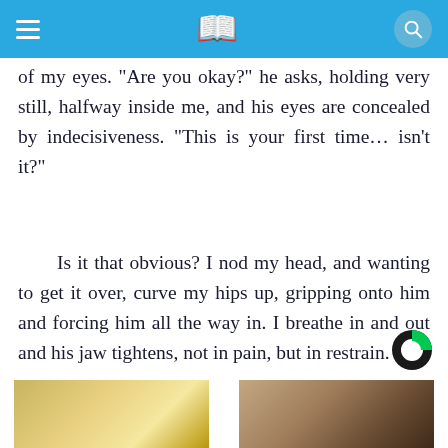App header bar with hamburger menu, book icon, and search button
of my eyes. “Are you okay?” he asks, holding very still, halfway inside me, and his eyes are concealed by indecisiveness. “This is your first time… isn’t it?”
Is it that obvious? I nod my head, and wanting to get it over, curve my hips up, gripping onto him and forcing him all the way in. I breathe in and out and his jaw tightens, not in pain, but in restrain.
[Figure (logo): Outbrain logo (C-shaped icon, green and black)]
[Figure (photo): Thumbnail image on the left (appears to show golden/decorative object)]
[Figure (photo): Thumbnail image on the right (appears to show a person or animal)]